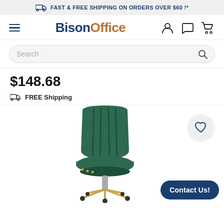FAST & FREE SHIPPING ON ORDERS OVER $60 !*
[Figure (logo): BisonOffice logo with navigation icons (hamburger menu, user, chat, cart)]
[Figure (screenshot): Search bar with placeholder text 'Search' and search icon]
$148.68
FREE Shipping
[Figure (photo): Green velvet office chair with channel tufting, gold base, on white background. Wishlist heart button and Contact Us button visible.]